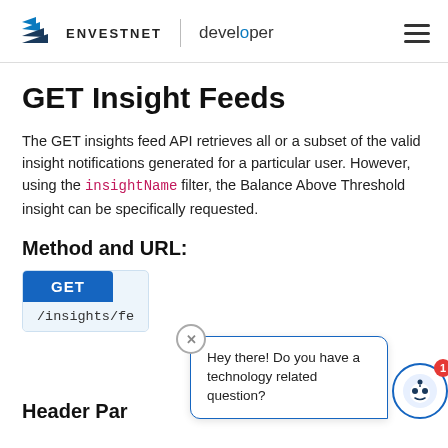ENVESTNET | developer
GET Insight Feeds
The GET insights feed API retrieves all or a subset of the valid insight notifications generated for a particular user. However, using the insightName filter, the Balance Above Threshold insight can be specifically requested.
Method and URL:
GET /insights/fe
Header Par